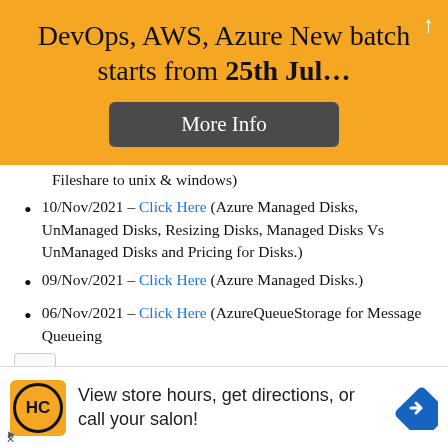DevOps, AWS, Azure New batch starts from 25th Jul…
More Info
Fileshare to unix & windows)
10/Nov/2021 – Click Here (Azure Managed Disks, UnManaged Disks, Resizing Disks, Managed Disks Vs UnManaged Disks and Pricing for Disks.)
09/Nov/2021 – Click Here (Azure Managed Disks.)
06/Nov/2021 – Click Here (AzureQueueStorage for Message Queueing
[Figure (infographic): Bottom advertisement banner: HC logo (orange background, circular border), text 'View store hours, get directions, or call your salon!', blue direction arrow icon]